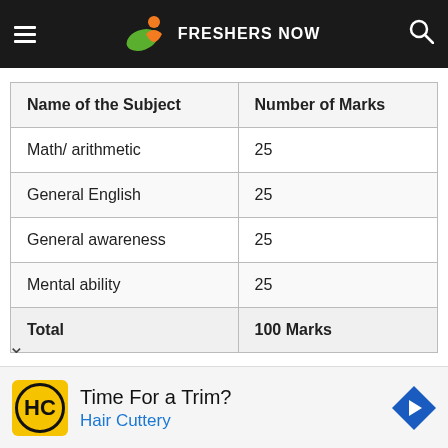FRESHERS NOW
| Name of the Subject | Number of Marks |
| --- | --- |
| Math/ arithmetic | 25 |
| General English | 25 |
| General awareness | 25 |
| Mental ability | 25 |
| Total | 100 Marks |
Time For a Trim? Hair Cuttery